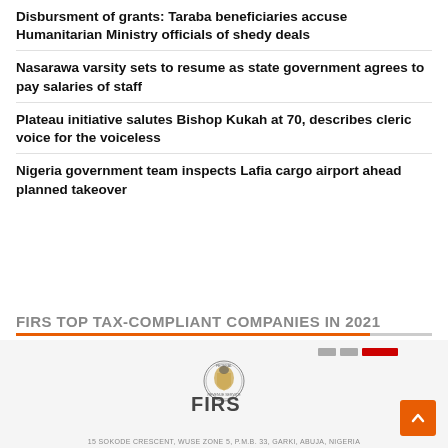Disbursment of grants: Taraba beneficiaries accuse Humanitarian Ministry officials of shedy deals
Nasarawa varsity sets to resume as state government agrees to pay salaries of staff
Plateau initiative salutes Bishop Kukah at 70, describes cleric voice for the voiceless
Nigeria government team inspects Lafia cargo airport ahead planned takeover
FIRS TOP TAX-COMPLIANT COMPANIES IN 2021
[Figure (logo): FIRS (Federal Inland Revenue Service) logo with emblem and text, address: 15 SOKODE CRESCENT, WUSE ZONE 5, P.M.B. 33, GARKI, ABUJA, NIGERIA]